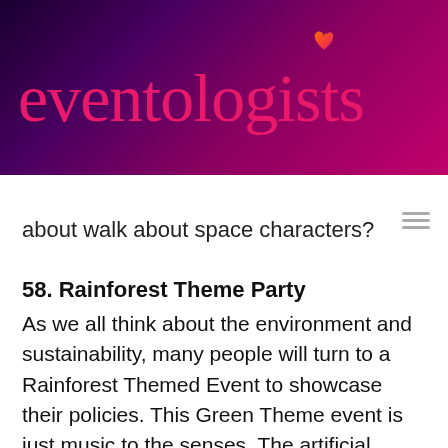[Figure (logo): Eventologists logo on dark purple-to-pink gradient banner background with red/orange heart icon above the 'i' in eventologists]
about walk about space characters?
58. Rainforest Theme Party
As we all think about the environment and sustainability, many people will turn to a Rainforest Themed Event to showcase their policies. This Green Theme event is just music to the senses. The artificial green forest trees stand high above the room to create true impact. Add in real foliage and flowers to the vines to create the scents of the forest, integrate birds and animals around greenery and living walls with sounds of the forest. Serve fresh canapes